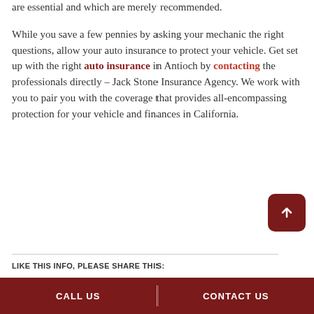are essential and which are merely recommended.
While you save a few pennies by asking your mechanic the right questions, allow your auto insurance to protect your vehicle. Get set up with the right auto insurance in Antioch by contacting the professionals directly – Jack Stone Insurance Agency. We work with you to pair you with the coverage that provides all-encompassing protection for your vehicle and finances in California.
LIKE THIS INFO, PLEASE SHARE THIS:
CALL US   CONTACT US